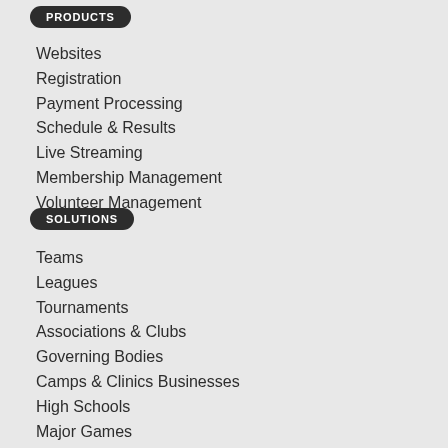PRODUCTS
Websites
Registration
Payment Processing
Schedule & Results
Live Streaming
Membership Management
Volunteer Management
SOLUTIONS
Teams
Leagues
Tournaments
Associations & Clubs
Governing Bodies
Camps & Clinics Businesses
High Schools
Major Games